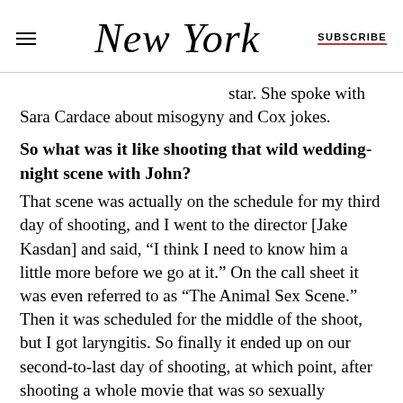NEW YORK | SUBSCRIBE
star. She spoke with Sara Cardace about misogyny and Cox jokes.
So what was it like shooting that wild wedding-night scene with John?
That scene was actually on the schedule for my third day of shooting, and I went to the director [Jake Kasdan] and said, “I think I need to know him a little more before we go at it.” On the call sheet it was even referred to as “The Animal Sex Scene.” Then it was scheduled for the middle of the shoot, but I got laryngitis. So finally it ended up on our second-to-last day of shooting, at which point, after shooting a whole movie that was so sexually charged, it felt like the perfect feed-up to it. It